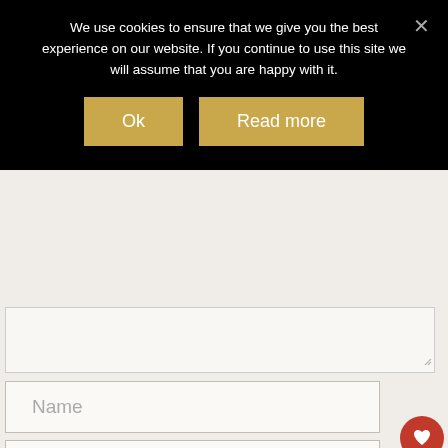We use cookies to ensure that we give you the best experience on our website. If you continue to use this site we will assume that you are happy with it.
[Figure (screenshot): Cookie consent banner with 'Ok' and 'Read more' buttons on black background, with close X button]
[Figure (screenshot): Partially visible textarea form field]
Name
Email
Website
[Figure (infographic): Floating heart/favorite icon button (orange-red circle) and share icon button (white circle)]
[Figure (screenshot): WHAT'S NEXT panel with circular photo thumbnail and text 'Weight Watchers – ...' with orange-red underline]
Notify me of new posts by email.